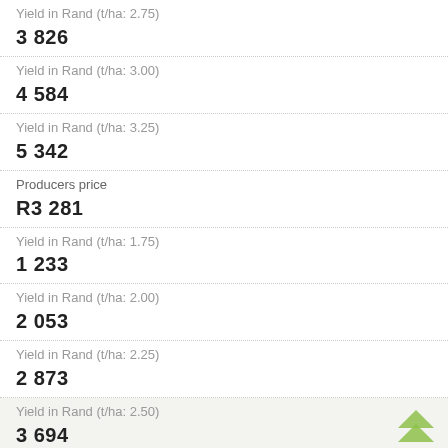Yield in Rand (t/ha: 2.75)
3 826
Yield in Rand (t/ha: 3.00)
4 584
Yield in Rand (t/ha: 3.25)
5 342
Producers price
R3 281
Yield in Rand (t/ha: 1.75)
1 233
Yield in Rand (t/ha: 2.00)
2 053
Yield in Rand (t/ha: 2.25)
2 873
Yield in Rand (t/ha: 2.50)
3 694
Yield in Rand (t/ha: 2.75)
4 514